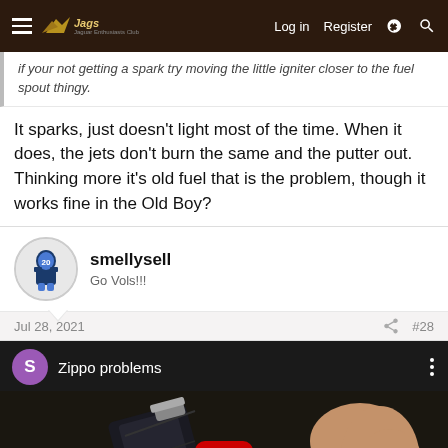Forum navigation bar with Log in, Register links
if your not getting a spark try moving the little igniter closer to the fuel spout thingy.
It sparks, just doesn't light most of the time. When it does, the jets don't burn the same and the putter out. Thinking more it's old fuel that is the problem, though it works fine in the Old Boy?
smellysell
Go Vols!!!
Jul 28, 2021  #28
[Figure (screenshot): YouTube video thumbnail showing 'Zippo problems' video with a purple avatar with letter S, a lighter being held by a hand in a dark background, and a red YouTube play button in the center.]